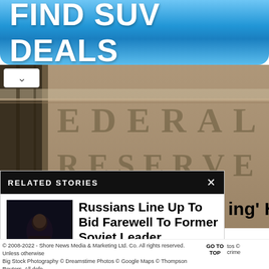[Figure (infographic): Blue gradient button advertisement banner reading 'FIND SUV DEALS' in large bold white text]
[Figure (photo): Photograph of the Federal Reserve building exterior showing carved stone letters reading 'EDERAL' and 'RESERVE' on the facade, dark sepia/muted tone]
RELATED STORIES
[Figure (photo): Dark thumbnail photo showing a person with hands clasped in dim lighting]
Russians Line Up To Bid Farewell To Former Soviet Leader Gorbachev
...
ing' Hinges
© 2008-2022 - Shore News Media & Marketing Ltd. Co. All rights reserved. Unless otherwise noted, photos © Big Stock Photography © Dreamstime Photos © Google Maps © Thompson Reuters. All defendants and crime suspects are presumed innocent until proven guilty.